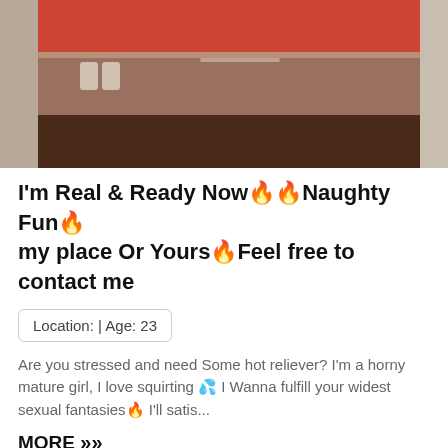[Figure (photo): Cropped photo of a person wearing a red crop top and dark shorts, showing midriff, taken in what appears to be a bathroom]
I'm Real & Ready Now🔥Naughty Fun🔥 my place Or Yours🔥Feel free to contact me
Location: | Age: 23
Are you stressed and need Some hot reliever? I'm a horny mature girl, I love squirting 💦 I Wanna fulfill your widest sexual fantasies🔥 I'll satis...
MORE »»
[Figure (photo): Partial photo visible at bottom of page with blue/purple lighting]